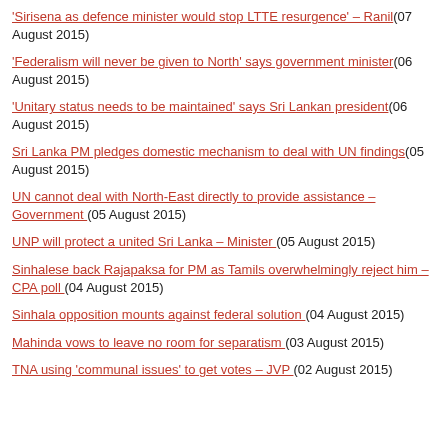'Sirisena as defence minister would stop LTTE resurgence' – Ranil(07 August 2015)
'Federalism will never be given to North' says government minister(06 August 2015)
'Unitary status needs to be maintained' says Sri Lankan president(06 August 2015)
Sri Lanka PM pledges domestic mechanism to deal with UN findings(05 August 2015)
UN cannot deal with North-East directly to provide assistance – Government (05 August 2015)
UNP will protect a united Sri Lanka – Minister (05 August 2015)
Sinhalese back Rajapaksa for PM as Tamils overwhelmingly reject him – CPA poll  (04 August 2015)
Sinhala opposition mounts against federal solution (04 August 2015)
Mahinda vows to leave no room for separatism (03 August 2015)
TNA using 'communal issues' to get votes – JVP (02 August 2015)